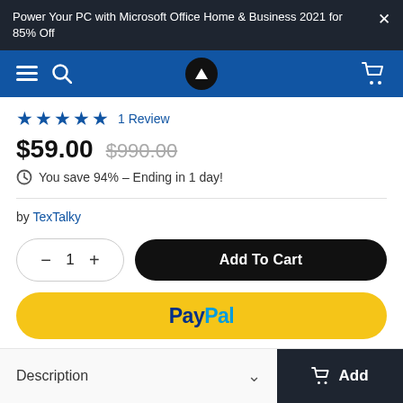Power Your PC with Microsoft Office Home & Business 2021 for 85% Off
[Figure (screenshot): Blue navigation bar with hamburger menu, search icon, upload/arrow icon, and shopping cart icon]
★★★★★  1 Review
$59.00  $990.00
You save 94% – Ending in 1 day!
by TexTalky
1  Add To Cart
PayPal
Description